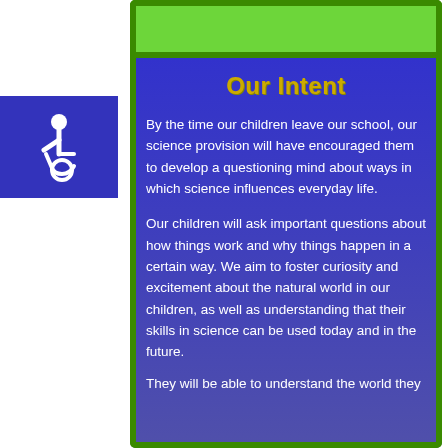[Figure (illustration): Green banner/bar at top of a bordered card layout]
[Figure (illustration): Blue accessibility icon with wheelchair symbol on teal/blue background]
Our Intent
By the time our children leave our school, our science provision will have encouraged them to develop a questioning mind about ways in which science influences everyday life.
Our children will ask important questions about how things work and why things happen in a certain way. We aim to foster curiosity and excitement about the natural world in our children, as well as understanding that their skills in science can be used today and in the future.
They will be able to understand the world they...